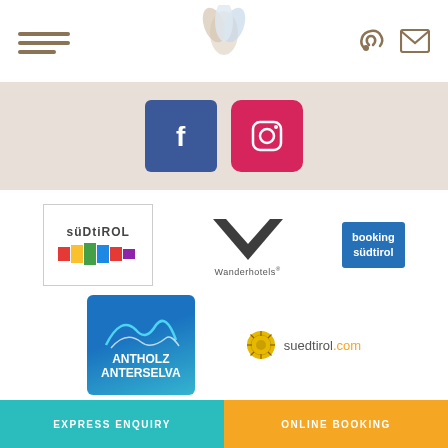[Figure (screenshot): Website header with hamburger menu, logo (tulip/flower icon), phone icon, and envelope icon]
[Figure (screenshot): Social media strip with Facebook and Instagram icons on beige background]
[Figure (logo): Südtirol logo with colored blocks]
[Figure (logo): Wanderhotels logo with W shape]
[Figure (logo): Booking Südtirol blue logo]
[Figure (logo): Antholz Anterselva blue square logo]
[Figure (logo): suedtirol.com logo with yellow sunburst]
Legal Notice · Privacy · Site map · Cookies · created with passion by ♥
EXPRESS ENQUIRY | ONLINE BOOKING